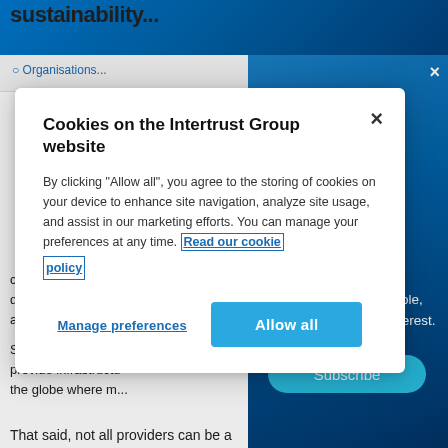[Figure (screenshot): Partial view of a website page with a blue gradient header/sidebar and white content area, partially obscured by a cookie consent modal dialog]
concentrate on k... distracted by rep... administration
news and insights, personalised to your role, location and areas of interest.
Service providers ca... provide infrastructu... the globe where m...
Subscribe
That said, not all providers can be a flexible outsourcing
[Figure (screenshot): Cookie consent modal dialog for the Intertrust Group website with title, explanation text, Manage preferences link, and Allow all button]
Cookies on the Intertrust Group website
By clicking "Allow all", you agree to the storing of cookies on your device to enhance site navigation, analyze site usage, and assist in our marketing efforts. You can manage your preferences at any time. Read our cookie policy
Manage preferences
Allow all